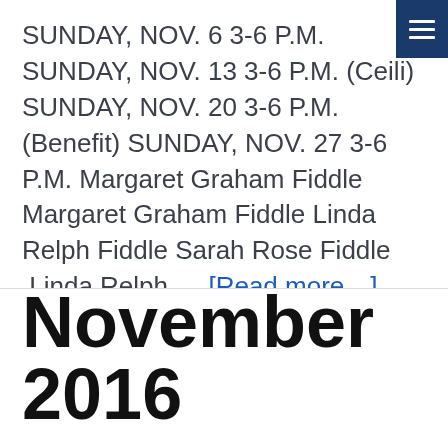SUNDAY, NOV. 6 3-6 P.M. SUNDAY, NOV. 13 3-6 P.M. (Ceili) SUNDAY, NOV. 20 3-6 P.M. (Benefit) SUNDAY, NOV. 27 3-6 P.M. Margaret Graham Fiddle Margaret Graham Fiddle Linda Relph Fiddle Sarah Rose Fiddle  Linda Relph … [Read more…]
November 2016